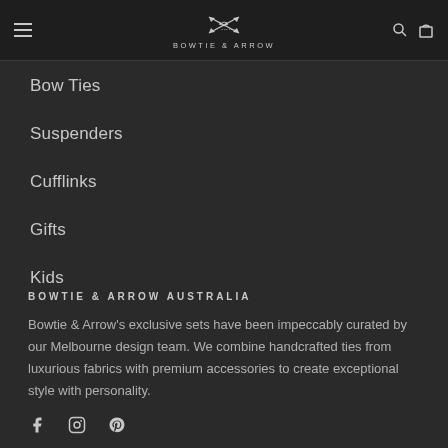BOWTIE & ARROW — navigation header with logo, hamburger menu, search and cart icons
Bow Ties
Suspenders
Cufflinks
Gifts
Kids
BOWTIE & ARROW AUSTRALIA
Bowtie & Arrow's exclusive sets have been impeccably curated by our Melbourne design team. We combine handcrafted ties from luxurious fabrics with premium accessories to create exceptional style with personality.
[Figure (other): Social media icons: Facebook, Instagram, Pinterest]